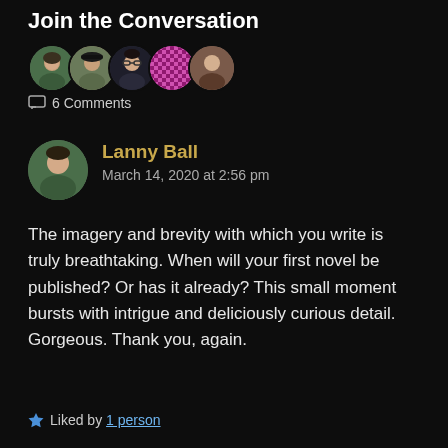Join the Conversation
[Figure (illustration): Row of 5 circular avatar photos of commenters]
6 Comments
Lanny Ball
March 14, 2020 at 2:56 pm
The imagery and brevity with which you write is truly breathtaking. When will your first novel be published? Or has it already? This small moment bursts with intrigue and deliciously curious detail. Gorgeous. Thank you, again.
Liked by 1 person